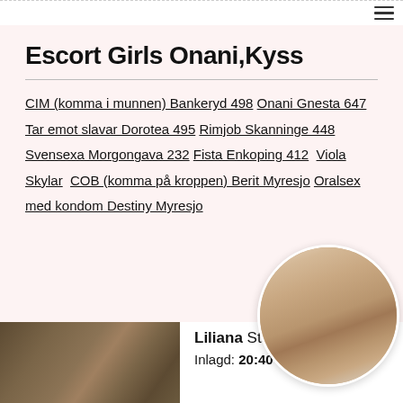☰
Escort Girls Onani,Kyss
CIM (komma i munnen) Bankeryd 498 Onani Gnesta 647 Tar emot slavar Dorotea 495 Rimjob Skanninge 448 Svensexa Morgongava 232 Fista Enkoping 412 Viola Skylar COB (komma på kroppen) Berit Myresjo Oralsex med kondom Destiny Myresjo
[Figure (photo): Circular cropped photo of a person, partially obscured]
[Figure (photo): Photo thumbnail on bottom left]
Liliana Stad...
Inlagd: 20:40 01.06.2021